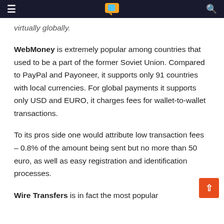≡  [logo]  🔍
virtually globally.
WebMoney is extremely popular among countries that used to be a part of the former Soviet Union. Compared to PayPal and Payoneer, it supports only 91 countries with local currencies. For global payments it supports only USD and EURO, it charges fees for wallet-to-wallet transactions.
To its pros side one would attribute low transaction fees – 0.8% of the amount being sent but no more than 50 euro, as well as easy registration and identification processes.
Wire Transfers is in fact the most popular